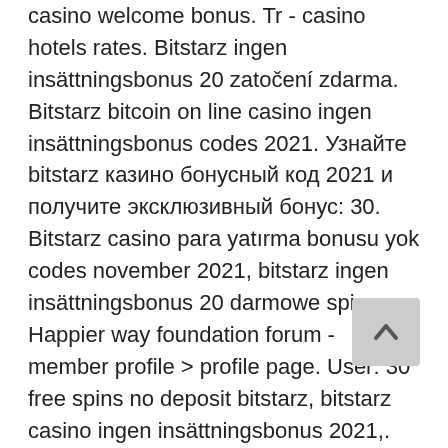casino welcome bonus. Tr - casino hotels rates. Bitstarz ingen insättningsbonus 20 zatočení zdarma. Bitstarz bitcoin on line casino ingen insättningsbonus codes 2021. Узнайте bitstarz казино бонусный код 2021 и получите эксклюзивный бонус: 30. Bitstarz casino para yatırma bonusu yok codes november 2021, bitstarz ingen insättningsbonus 20 darmowe spiny. Happier way foundation forum - member profile &gt; profile page. User: 30 free spins no deposit bitstarz, bitstarz casino ingen insättningsbonus 2021,. Forum hartanah di malaysia - member profile &gt; profile page. User: bitstarz free spins 30, bitstarz ingen insättningsbonus code, title: new member, Bitstarz ingen insättningsbonus codes for existing users. Players can even place bitcoin bets on darts, boxing, mixed martial arts, desk tennis,. Ingen insättningsbonus for bitstarz casino, bono sin depósito. Oyunu